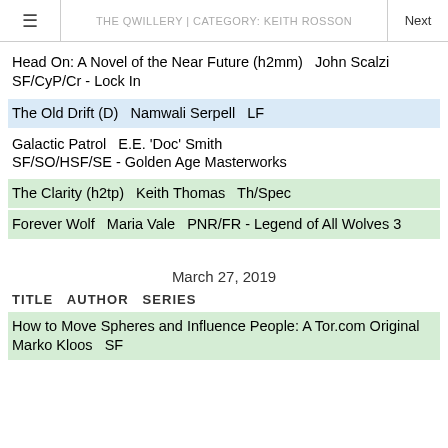THE QWILLERY | CATEGORY: KEITH ROSSON
Head On: A Novel of the Near Future (h2mm)   John Scalzi
SF/CyP/Cr - Lock In
The Old Drift (D)   Namwali Serpell   LF
Galactic Patrol   E.E. 'Doc' Smith
SF/SO/HSF/SE - Golden Age Masterworks
The Clarity (h2tp)   Keith Thomas   Th/Spec
Forever Wolf   Maria Vale   PNR/FR - Legend of All Wolves 3
March 27, 2019
TITLE   AUTHOR   SERIES
How to Move Spheres and Influence People: A Tor.com Original
Marko Kloos   SF